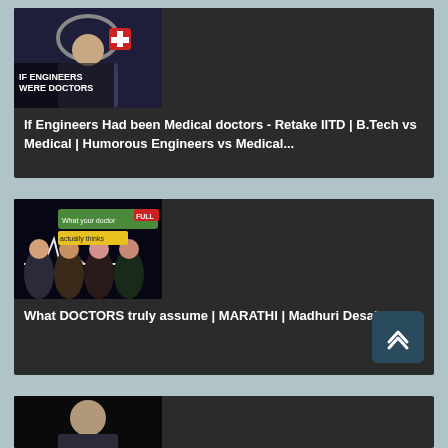[Figure (screenshot): YouTube-style video card: thumbnail showing a man in doctor coat with text 'IF ENGINEERS WERE DOCTORS' and a stethoscope graphic]
If Engineers Had been Medical doctors - Retake IITD | B.Tech vs Medical | Humorous Engineers vs Medical...
[Figure (screenshot): YouTube-style video card: dark thumbnail showing women with text 'What your doctor actually thinks' with heartbeat line graphic]
What DOCTORS truly assume | MARATHI | Madhuri Desai |
[Figure (screenshot): Partial YouTube-style video card at bottom: dark thumbnail showing a man]